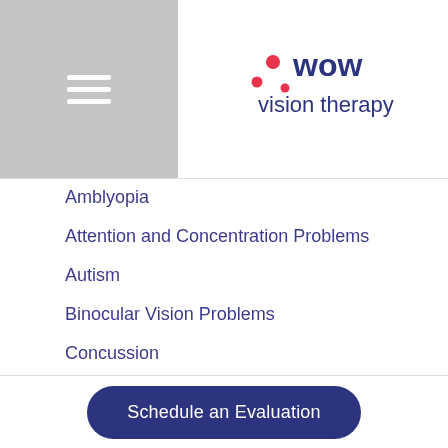[Figure (logo): WOW Vision Therapy logo with red dots and blue text]
Amblyopia
Attention and Concentration Problems
Autism
Binocular Vision Problems
Concussion
Convergence Insufficiency
Developmental Delays
Double Vision
Featured
Frustration in Homework
History
Schedule an Evaluation